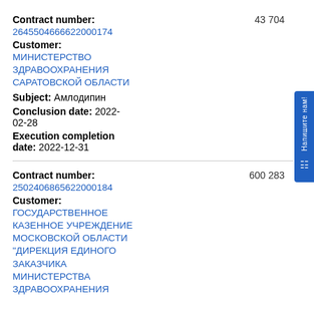Contract number: 43 704
2645504666622000174
Customer:
МИНИСТЕРСТВО ЗДРАВООХРАНЕНИЯ САРАТОВСКОЙ ОБЛАСТИ
Subject: Амлодипин
Conclusion date: 2022-02-28
Execution completion date: 2022-12-31
Contract number: 600 283
2502406865622000184
Customer:
ГОСУДАРСТВЕННОЕ КАЗЕННОЕ УЧРЕЖДЕНИЕ МОСКОВСКОЙ ОБЛАСТИ "ДИРЕКЦИЯ ЕДИНОГО ЗАКАЗЧИКА МИНИСТЕРСТВА ЗДРАВООХРАНЕНИЯ